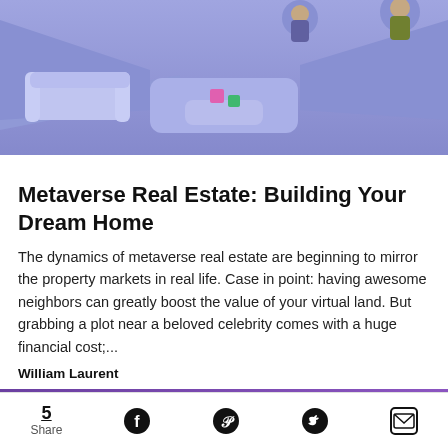[Figure (illustration): Metaverse virtual room scene with purple/blue soft furniture, floating objects, and avatar figures in a stylized 3D environment]
Metaverse Real Estate: Building Your Dream Home
The dynamics of metaverse real estate are beginning to mirror the property markets in real life. Case in point: having awesome neighbors can greatly boost the value of your virtual land. But grabbing a plot near a beloved celebrity comes with a huge financial cost;...
William Laurent
[Figure (illustration): Purple background with a stylized avatar figure with pink hair]
5 Share [Facebook] [Pinterest] [Twitter] [Email]